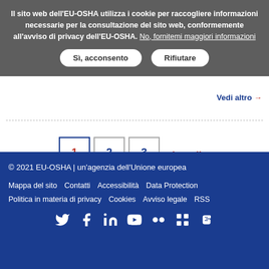Il sito web dell'EU-OSHA utilizza i cookie per raccogliere informazioni necessarie per la consultazione del sito web, conformemente all'avviso di privacy dell'EU-OSHA. No, fornitemi maggiori informazioni
Sì, acconsento  Rifiutare
Vedi altro →
1  2  3  ›  »
© 2021 EU-OSHA | un'agenzia dell'Unione europea
Mappa del sito  Contatti  Accessibilità  Data Protection
Politica in materia di privacy  Cookies  Avviso legale  RSS